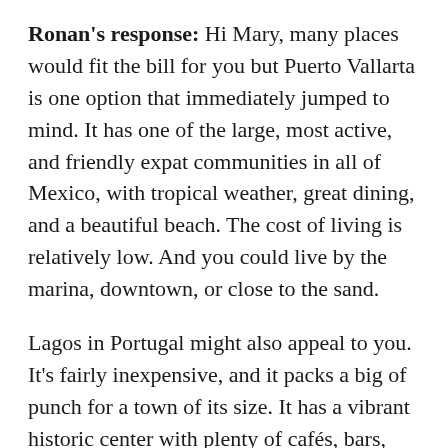Ronan's response: Hi Mary, many places would fit the bill for you but Puerto Vallarta is one option that immediately jumped to mind. It has one of the large, most active, and friendly expat communities in all of Mexico, with tropical weather, great dining, and a beautiful beach. The cost of living is relatively low. And you could live by the marina, downtown, or close to the sand.
Lagos in Portugal might also appeal to you. It's fairly inexpensive, and it packs a big of punch for a town of its size. It has a vibrant historic center with plenty of cafés, bars, and restaurants. And it's essentially better with…